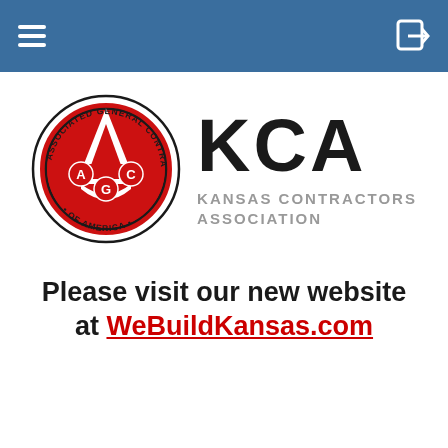Navigation header bar with hamburger menu and login icon
[Figure (logo): AGC Associated General Contractors of America circular logo with red background and white AGC letters, combined with KCA Kansas Contractors Association text logo]
Please visit our new website at WeBuildKansas.com